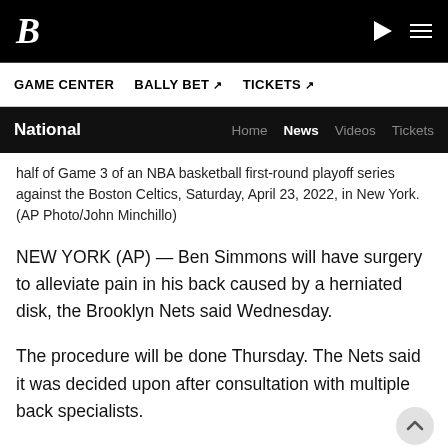B (logo) | play icon | hamburger menu
GAME CENTER   BALLY BET ↗   TICKETS ↗
National   Home   News   Videos   Tickets
half of Game 3 of an NBA basketball first-round playoff series against the Boston Celtics, Saturday, April 23, 2022, in New York. (AP Photo/John Minchillo)
NEW YORK (AP) — Ben Simmons will have surgery to alleviate pain in his back caused by a herniated disk, the Brooklyn Nets said Wednesday.
The procedure will be done Thursday. The Nets said it was decided upon after consultation with multiple back specialists.